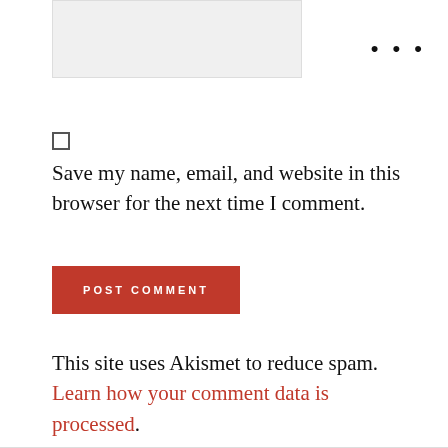[Figure (other): Light gray input box (form field area)]
•••
[Figure (other): Empty checkbox (unchecked square)]
Save my name, email, and website in this browser for the next time I comment.
POST COMMENT
This site uses Akismet to reduce spam. Learn how your comment data is processed.